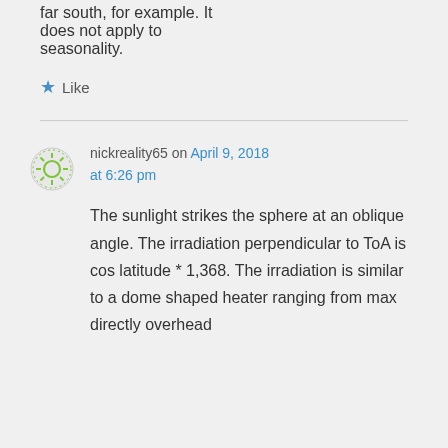far south, for example. It does not apply to seasonality.
★ Like
nickreality65 on April 9, 2018 at 6:26 pm
The sunlight strikes the sphere at an oblique angle. The irradiation perpendicular to ToA is cos latitude * 1,368. The irradiation is similar to a dome shaped heater ranging from max directly overhead